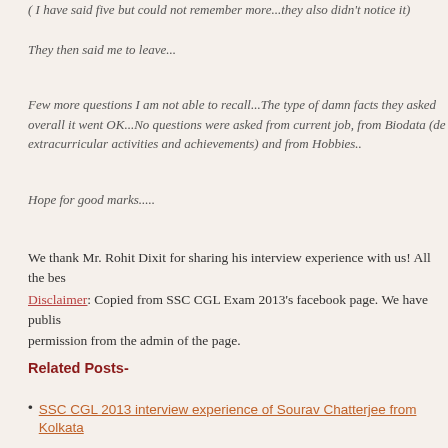( I have said five but could not remember more...they also didn't notice it)
They then said me to leave...
Few more questions I am not able to recall...The type of damn facts they asked overall it went OK...No questions were asked from current job, from Biodata (de extracurricular activities and achievements) and from Hobbies..
Hope for good marks.....
We thank Mr. Rohit Dixit for sharing his interview experience with us! All the bes
Disclaimer: Copied from SSC CGL Exam 2013's facebook page. We have publis permission from the admin of the page.
Related Posts-
SSC CGL 2013 interview experience of Sourav Chatterjee from Kolkata